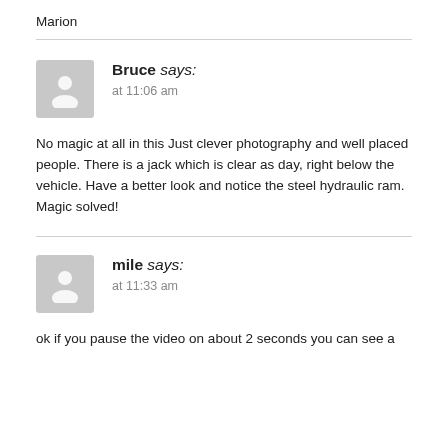Marion
Bruce says:
at 11:06 am
No magic at all in this Just clever photography and well placed people. There is a jack which is clear as day, right below the vehicle. Have a better look and notice the steel hydraulic ram.
Magic solved!
mile says:
at 11:33 am
ok if you pause the video on about 2 seconds you can see a